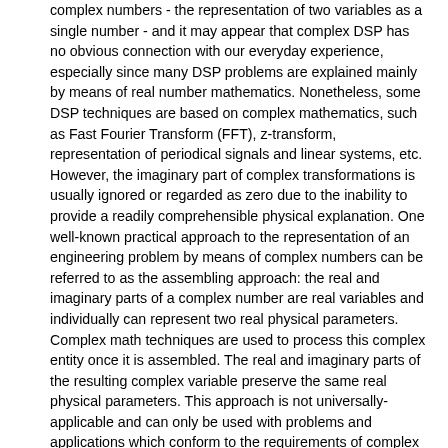complex numbers - the representation of two variables as a single number - and it may appear that complex DSP has no obvious connection with our everyday experience, especially since many DSP problems are explained mainly by means of real number mathematics. Nonetheless, some DSP techniques are based on complex mathematics, such as Fast Fourier Transform (FFT), z-transform, representation of periodical signals and linear systems, etc. However, the imaginary part of complex transformations is usually ignored or regarded as zero due to the inability to provide a readily comprehensible physical explanation. One well-known practical approach to the representation of an engineering problem by means of complex numbers can be referred to as the assembling approach: the real and imaginary parts of a complex number are real variables and individually can represent two real physical parameters. Complex math techniques are used to process this complex entity once it is assembled. The real and imaginary parts of the resulting complex variable preserve the same real physical parameters. This approach is not universally-applicable and can only be used with problems and applications which conform to the requirements of complex math techniques. Making a complex number entirely mathematically equivalent to a substantial physical problem is the real essence of complex DSP. Like complex Fourier transforms, complex DSP transforms show the